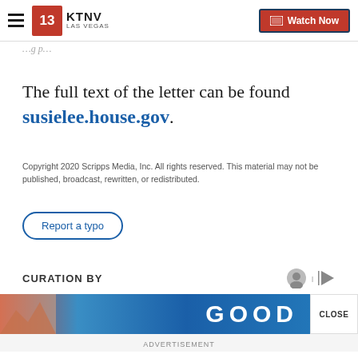KTNV Las Vegas — Watch Now
The full text of the letter can be found susielee.house.gov.
Copyright 2020 Scripps Media, Inc. All rights reserved. This material may not be published, broadcast, rewritten, or redistributed.
Report a typo
CURATION BY
[Figure (screenshot): Advertisement banner showing GOOD text and Subaru of Las Vegas ad]
ADVERTISEMENT